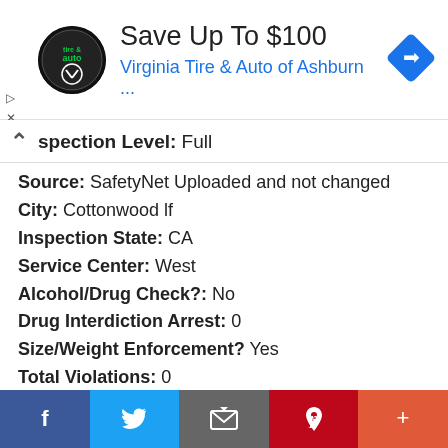[Figure (other): Advertisement banner: Virginia Tire & Auto of Ashburn logo with text 'Save Up To $100' and 'Virginia Tire & Auto of Ashburn ...' and a navigation diamond icon]
Inspection Level: Full
Source: SafetyNet Uploaded and not changed
City: Cottonwood lf
Inspection State: CA
Service Center: West
Alcohol/Drug Check?: No
Drug Interdiction Arrest: 0
Size/Weight Enforcement? Yes
Total Violations: 0
Out-of-Service Violations: 0